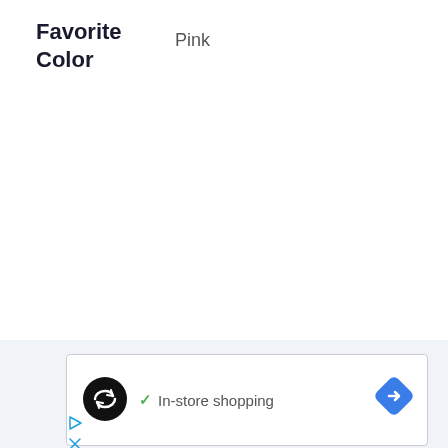Favorite Color
Pink
[Figure (screenshot): Ad box with a circular black icon containing a loop/infinity symbol, a green checkmark followed by 'In-store shopping' text, and a blue diamond-shaped arrow icon on the right. Below the box are cyan/blue play and close (X) icons.]